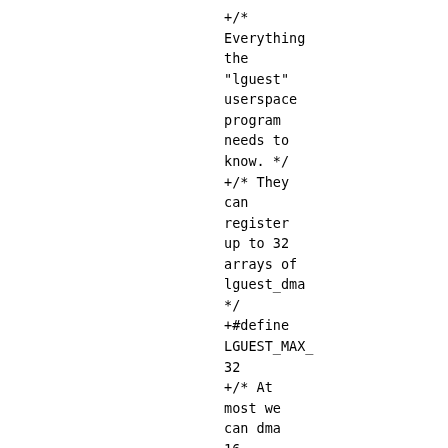+/* Everything the "lguest" userspace program needs to know. */
+/* They can register up to 32 arrays of lguest_dma
*/
+#define LGUEST_MAX_ 32
+/* At most we can dma 16 lguest_dma in one op. */
+#define LGUEST_MAX_ 16
+
+/* How